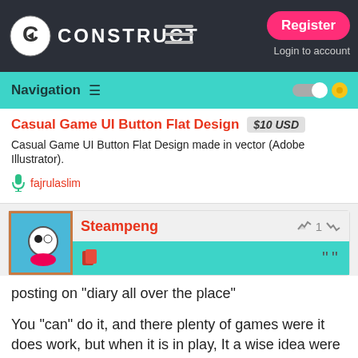CONSTRUCT — Register | Login to account
Navigation
Casual Game UI Button Flat Design  $10 USD
Casual Game UI Button Flat Design made in vector (Adobe Illustrator).
fajrulaslim
Steampeng  1
posting on "diary all over the place"

You "can" do it, and there plenty of games were it does work, but when it is in play, It a wise idea were you don't need all of them

oh, also, steampunk Noob, at your service